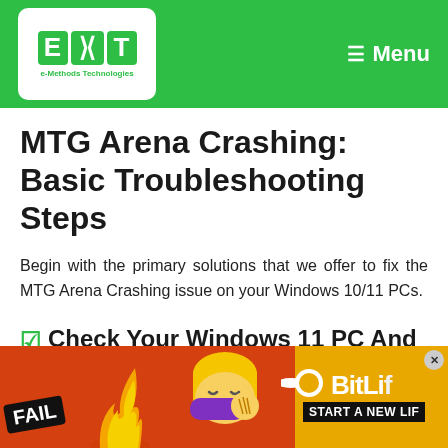EMT e-Methods Technologies — Menu
MTG Arena Crashing: Basic Troubleshooting Steps
Begin with the primary solutions that we offer to fix the MTG Arena Crashing issue on your Windows 10/11 PCs.
☑ Check Your Windows 11 PC And MTG Arena Specifications
[Figure (photo): Advertisement banner at bottom: red background with 'FAIL' badge, animated face, flame, BitLife logo on yellow background, 'START A NEW LIF...' text]